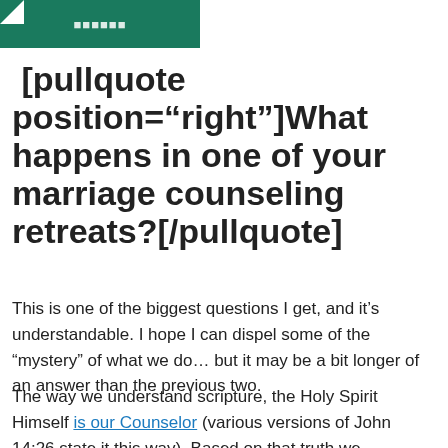[Figure (logo): Green banner logo/header image, partially cropped at top]
[pullquote position="right"]What happens in one of your marriage counseling retreats?[/pullquote]
This is one of the biggest questions I get, and it's understandable. I hope I can dispel some of the “mystery” of what we do… but it may be a bit longer of an answer than the previous two.
The way we understand scripture, the Holy Spirit Himself is our Counselor (various versions of John 14:26 state it this way). Based on that truth we